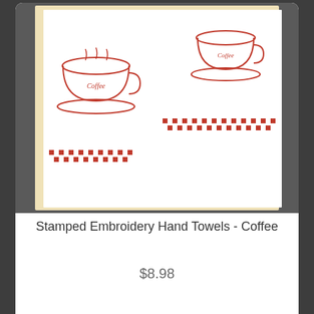[Figure (photo): Product image of two white hand towels with red embroidered coffee cup designs and red checkered border pattern, displayed on a beige/cream background]
Stamped Embroidery Hand Towels - Coffee
$8.98
[Figure (photo): Product image of two white hand towels with colorful embroidered rooster designs and red checkered border pattern, displayed on a mint green background]